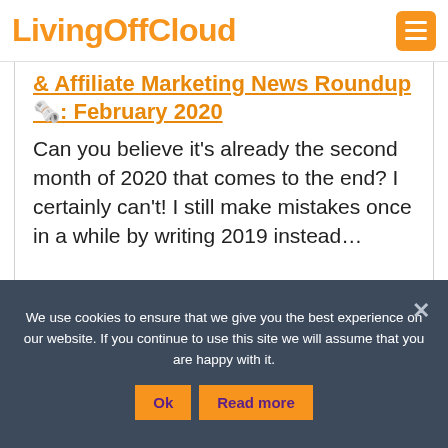LivingOffCloud
& Affiliate Marketing News Roundup🗞️: February 2020
Can you believe it's already the second month of 2020 that comes to the end? I certainly can't! I still make mistakes once in a while by writing 2019 instead…
We use cookies to ensure that we give you the best experience on our website. If you continue to use this site we will assume that you are happy with it.
Ok  Read more